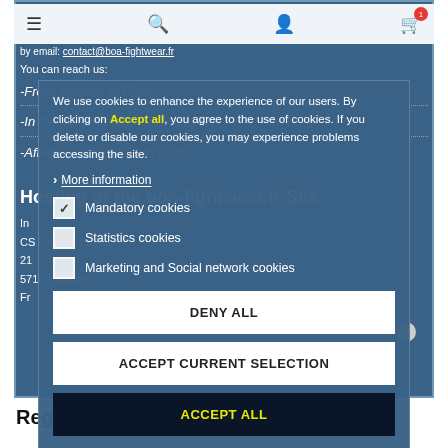[Figure (screenshot): Website browser screenshot showing a cookie consent overlay on a blue sports equipment site (boa-fightwear.fr). The overlay contains cookie policy text, checkbox options for Mandatory/Statistics/Marketing cookies, and three buttons: DENY ALL, ACCEPT CURRENT SELECTION, and ACCEPT ALL.]
We use cookies to enhance the experience of our users. By clicking on Accept all, you agree to the use of cookies. If you delete or disable our cookies, you may experience problems accessing the site.
More information
Mandatory cookies
Statistics cookies
Marketing and Social network cookies
DENY ALL
ACCEPT CURRENT SELECTION
ACCEPT ALL
-From Monday to Friday
-In the morning from 9.30 to 12.00
-Afternoon from 1.30 to 5.30
Hosting of the boa-fightwear.fr Site
CS Internet Creations
57100 Manom
Regarding intellectual property